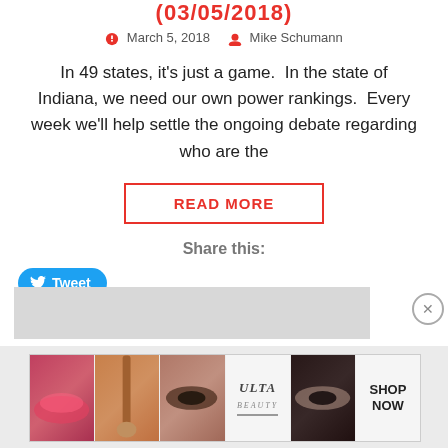(03/05/2018)
March 5, 2018   Mike Schumann
In 49 states, it's just a game.  In the state of Indiana, we need our own power rankings.  Every week we'll help settle the ongoing debate regarding who are the
READ MORE
Share this:
Tweet
[Figure (other): Gray advertisement banner with close (X) button]
[Figure (other): Ulta Beauty advertisement banner with makeup images and SHOP NOW text]